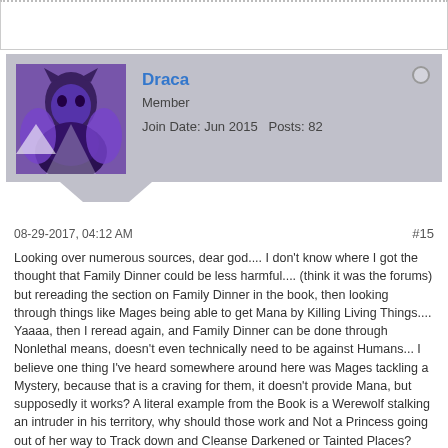[Figure (screenshot): Top white bar with dotted border, part of a forum interface.]
Draca
Member
Join Date: Jun 2015   Posts: 82
08-29-2017, 04:12 AM   #15
Looking over numerous sources, dear god.... I don't know where I got the thought that Family Dinner could be less harmful.... (think it was the forums) but rereading the section on Family Dinner in the book, then looking through things like Mages being able to get Mana by Killing Living Things.... Yaaaa, then I reread again, and Family Dinner can be done through Nonlethal means, doesn't even technically need to be against Humans... I believe one thing I've heard somewhere around here was Mages tackling a Mystery, because that is a craving for them, it doesn't provide Mana, but supposedly it works? A literal example from the Book is a Werewolf stalking an intruder in his territory, why should those work and Not a Princess going out of her way to Track down and Cleanse Darkened or Tainted Places? And this still doesn't answer Family Dinner with other splats the Princesses can get along with.

(Please do excuse me, and correct me, if I'm not as read up on Princess as I maybe should be for this discussion, I am sorry in advance)